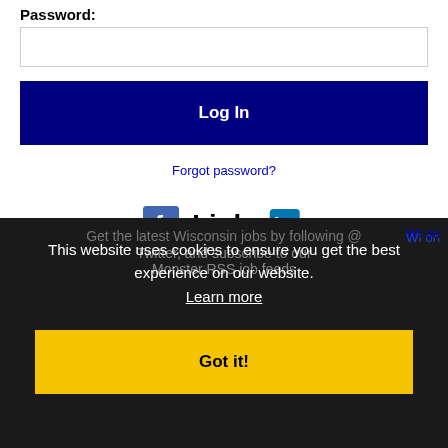Password:
[Figure (screenshot): Password input field (empty text box)]
[Figure (screenshot): Log In button (dark navy blue button with white bold text)]
Forgot password?
[Figure (logo): Facebook icon (blue square with white F) and LinkedIn logo side by side]
Get the latest Wisconsin jobs by following @JobsWI on Twitter, and subscribe to our RSS job feeds
This website uses cookies to ensure you get the best experience on our website. Learn more
[Figure (screenshot): Got it! button (yellow background, black bold text)]